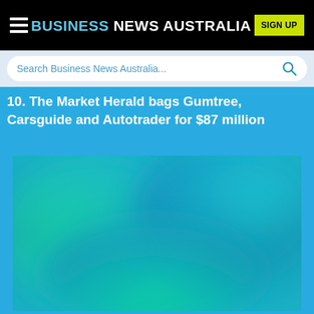BUSINESS NEWS AUSTRALIA | SIGN UP
Search Business News Australia...
10. The Market Herald bags Gumtree, Carsguide and Autotrader for $87 million
[Figure (photo): Blurred gradient image in teal and cyan tones, partially cut off at the bottom, serving as a thumbnail for the article about The Market Herald.]